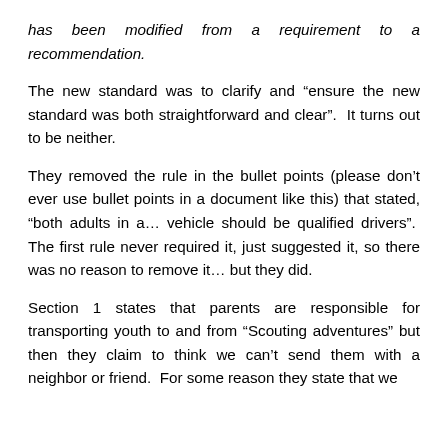has been modified from a requirement to a recommendation.
The new standard was to clarify and “ensure the new standard was both straightforward and clear”.  It turns out to be neither.
They removed the rule in the bullet points (please don’t ever use bullet points in a document like this) that stated, “both adults in a… vehicle should be qualified drivers”.  The first rule never required it, just suggested it, so there was no reason to remove it… but they did.
Section 1 states that parents are responsible for transporting youth to and from “Scouting adventures” but then they claim to think we can’t send them with a neighbor or friend.  For some reason they state that we